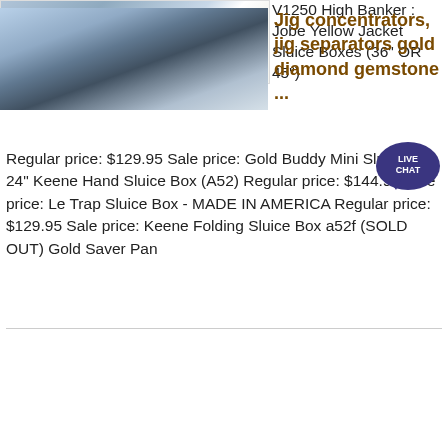[Figure (photo): Photo of mining equipment/gravel area with ACRUSHER Mining Equipment logo]
V1250 High Banker : Jobe Yellow Jacket Sluice Boxes (36" OR 45") Regular price: $129.95 Sale price: Gold Buddy Mini Sluice Box 24" Keene Hand Sluice Box (A52) Regular price: $144.95 Sale price: Le Trap Sluice Box - MADE IN AMERICA Regular price: $129.95 Sale price: Keene Folding Sluice Box a52f (SOLD OUT) Gold Saver Pan
[Figure (other): Live Chat button/bubble - dark blue chat icon with LIVE CHAT text]
Get Price
[Figure (photo): Photo of industrial jig concentrator/separator machinery outdoors]
Jig concentrators, jig separators gold diamond gemstone ...